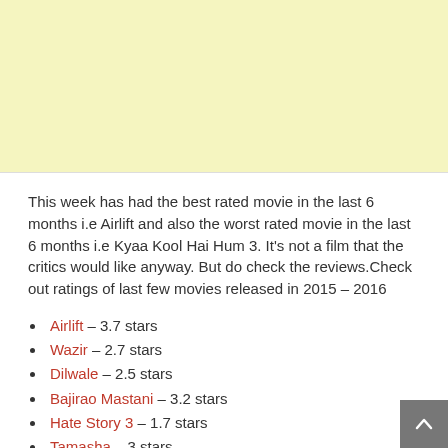[Figure (other): Yellow/cream advertisement banner placeholder at the top of the page]
This week has had the best rated movie in the last 6 months i.e Airlift and also the worst rated movie in the last 6 months i.e Kyaa Kool Hai Hum 3. It's not a film that the critics would like anyway. But do check the reviews.Check out ratings of last few movies released in 2015 – 2016
Airlift – 3.7 stars
Wazir – 2.7 stars
Dilwale – 2.5 stars
Bajirao Mastani – 3.2 stars
Hate Story 3 – 1.7 stars
Tamasha – 3 stars
Prem Ratan Dhan Payo – 2.7 stars
Pyaar Ka Punchnama 2 – 2.6 stars